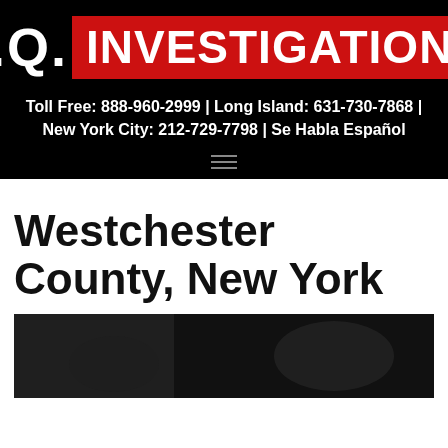R.Q. INVESTIGATIONS
Toll Free: 888-960-2999 | Long Island: 631-730-7868 | New York City: 212-729-7798 | Se Habla Español
Westchester County, New York
[Figure (photo): Dark photograph partially visible at the bottom of the page, appears to show a person or silhouette against a dark background]